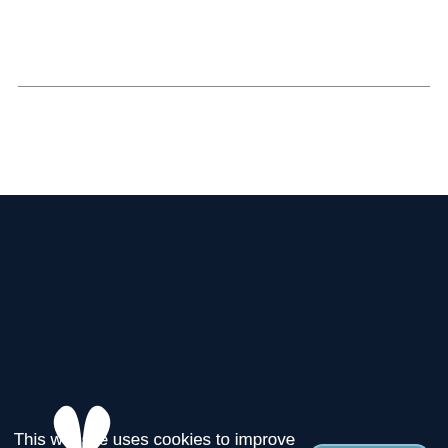[Figure (logo): White triangular logo mark on dark navy background, resembling a stylized plant or butterfly shape made of curved leaf/petal forms]
© Franklin Covey Co. all rights reserved. | Call Us Today: 1-888-868-1776
Company Info
Login to Lead Us to Me
About Us
This website uses cookies to improve your experience. By continuing to use this site you agree to our use of cookies. Learn more.